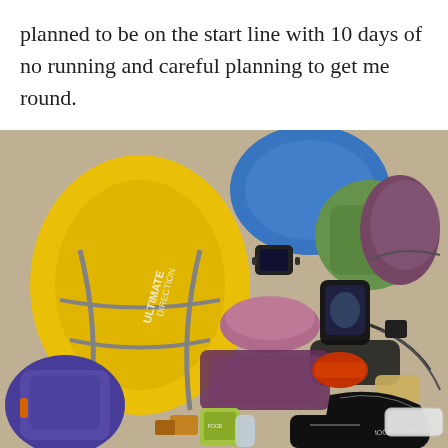planned to be on the start line with 10 days of no running and careful planning to get me round.
[Figure (photo): Overhead flat-lay photo showing running and outdoor gear spread on a floor: a yellow Ultimate Direction running pack, blue and green dry bags, a purple backpack, socks, clothing items, GPS device, electronics and chargers, trail running shoes, a Hardmoor Helvellyn race pack/vest, energy gels, and a plastic food container.]